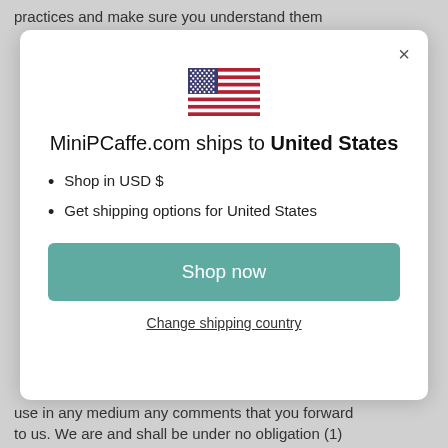practices and make sure you understand them
[Figure (screenshot): Modal dialog showing MiniPCaffe.com ships to United States with US flag icon, bullet list (Shop in USD $, Get shipping options for United States), a teal Shop now button, and a Change shipping country link]
use in any medium any comments that you forward to us. We are and shall be under no obligation (1)